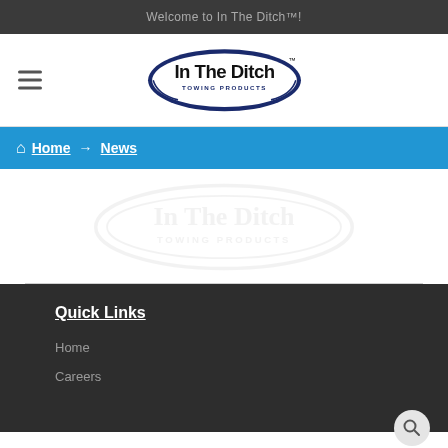Welcome to In The Ditch™!
[Figure (logo): In The Ditch Towing Products oval logo with hamburger menu icon on the left]
Home → News
[Figure (illustration): Faint watermark of In The Ditch Towing Products logo]
Quick Links
Home
Careers
[Figure (illustration): Search magnifying glass icon button]